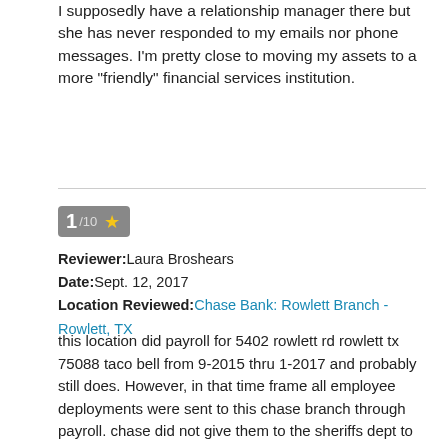I supposedly have a relationship manager there but she has never responded to my emails nor phone messages. I'm pretty close to moving my assets to a more "friendly" financial services institution.
1/10 ★
Reviewer: Laura Broshears
Date: Sept. 12, 2017
Location Reviewed: Chase Bank: Rowlett Branch - Rowlett, TX
this location did payroll for 5402 rowlett rd rowlett tx 75088 taco bell from 9-2015 thru 1-2017 and probably still does. However, in that time frame all employee deployments were sent to this chase branch through payroll. chase did not give them to the sheriffs dept to distribute. If the dept of justice and dept of treasury atf firearm containers were removed from this chase bank , they would not have this information. They would also be forced to close due to a lack of capital. unless, they continued to use ross perots personal and business information w the dept of treasury san francisco.